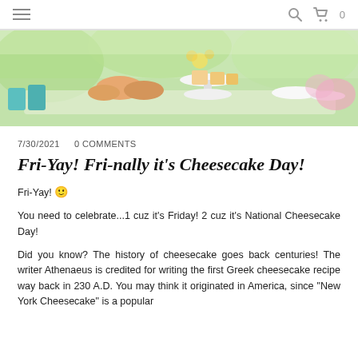≡   🔍  🛒 0
[Figure (photo): A colorful outdoor dessert table with cupcakes, pastries, and tiered trays of food against a green background.]
7/30/2021   0 COMMENTS
Fri-Yay! Fri-nally it's Cheesecake Day!
Fri-Yay! 😊
You need to celebrate...1 cuz it's Friday! 2 cuz it's National Cheesecake Day!
Did you know? The history of cheesecake goes back centuries! The writer Athenaeus is credited for writing the first Greek cheesecake recipe way back in 230 A.D. You may think it originated in America, since "New York Cheesecake" is a popular